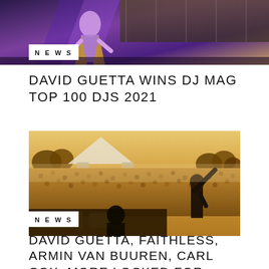[Figure (photo): Performer on stage under colorful stage lighting, viewed from below]
NEWS
DAVID GUETTA WINS DJ MAG TOP 100 DJS 2021
[Figure (photo): DJ performing on stage with massive outdoor festival crowd in warm golden light, performer raising hand to crowd]
NEWS
DAVID GUETTA, FAITHLESS, ARMIN VAN BUUREN, CARL COX, MORE LOCKED FOR CREAMFIELDS VIRTUAL FESTIVAL